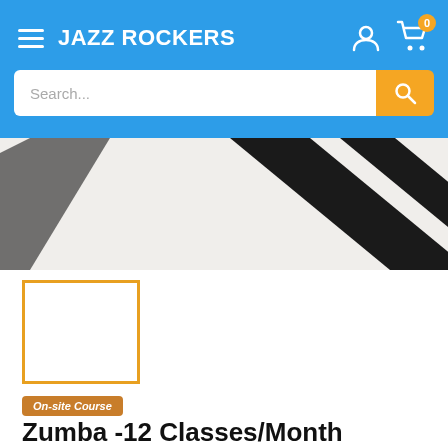JAZZ ROCKERS
[Figure (screenshot): Product image showing diagonal black straps on light background]
[Figure (photo): Thumbnail image placeholder with orange border]
On-site Course
Zumba -12 Classes/Month
JAZZ ROCKERS -AL KARAMA BR